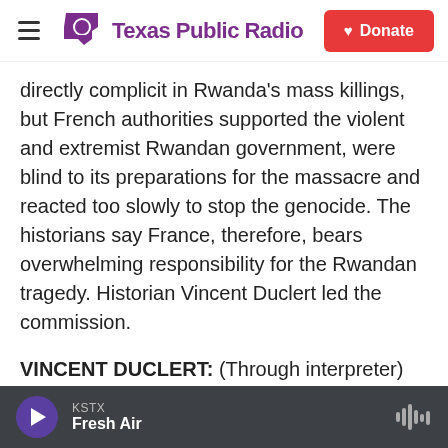Texas Public Radio — Donate
directly complicit in Rwanda's mass killings, but French authorities supported the violent and extremist Rwandan government, were blind to its preparations for the massacre and reacted too slowly to stop the genocide. The historians say France, therefore, bears overwhelming responsibility for the Rwandan tragedy. Historian Vincent Duclert led the commission.
VINCENT DUCLERT: (Through interpreter) France did not understand at all. These were organized massacres with calls to kill on the radio and buses transporting militias. This was not interethnic
KSTX — Fresh Air